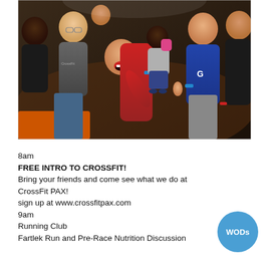[Figure (photo): Group photo of several men smiling and celebrating, one man in a red shirt laughing with mouth open, a small child being held in the center, taken at night in what appears to be an indoor/outdoor event. Some people wearing CrossFit shirts and wristbands.]
8am
FREE INTRO TO CROSSFIT!
Bring your friends and come see what we do at CrossFit PAX!
sign up at www.crossfitpax.com
9am
Running Club
Fartlek Run and Pre-Race Nutrition Discussion
WODs